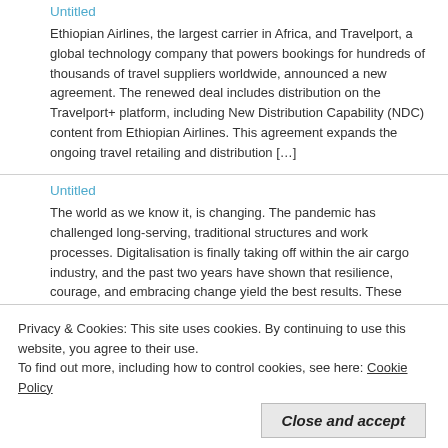Untitled
Ethiopian Airlines, the largest carrier in Africa, and Travelport, a global technology company that powers bookings for hundreds of thousands of travel suppliers worldwide, announced a new agreement. The renewed deal includes distribution on the Travelport+ platform, including New Distribution Capability (NDC) content from Ethiopian Airlines. This agreement expands the ongoing travel retailing and distribution […]
Untitled
The world as we know it, is changing. The pandemic has challenged long-serving, traditional structures and work processes. Digitalisation is finally taking off within the air cargo industry, and the past two years have shown that resilience, courage, and embracing change yield the best results. These elements have led to the emergence of the Next […]
Untitled
DHL and the ABB FIA Formula E World Championship completed
Privacy & Cookies: This site uses cookies. By continuing to use this website, you agree to their use.
To find out more, including how to control cookies, see here: Cookie Policy
Untitled